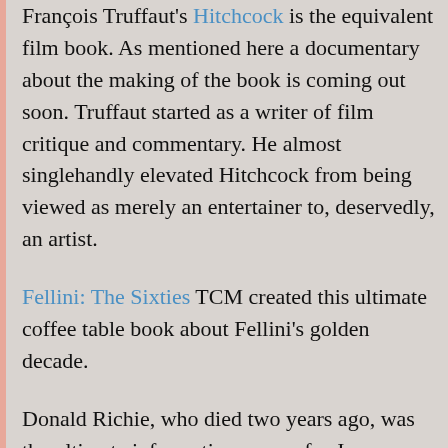François Truffaut's Hitchcock is the equivalent film book. As mentioned here a documentary about the making of the book is coming out soon. Truffaut started as a writer of film critique and commentary. He almost singlehandly elevated Hitchcock from being viewed as merely an entertainer to, deservedly, an artist.
Fellini: The Sixties TCM created this ultimate coffee table book about Fellini's golden decade.
Donald Richie, who died two years ago, was the ultimate information source for Japanese cinema. His indispensable book The Films of Akira Kurosawa is a, large format, detailed survey of every Kurosawa film.
Everyone knows Saul Bass' work as a designer of movie title sequences, even if you don't know his name. Tomorrow we find out this designer's additional...